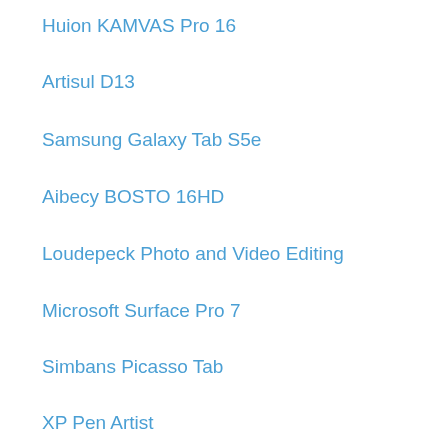Huion KAMVAS Pro 16
Artisul D13
Samsung Galaxy Tab S5e
Aibecy BOSTO 16HD
Loudepeck Photo and Video Editing
Microsoft Surface Pro 7
Simbans Picasso Tab
XP Pen Artist